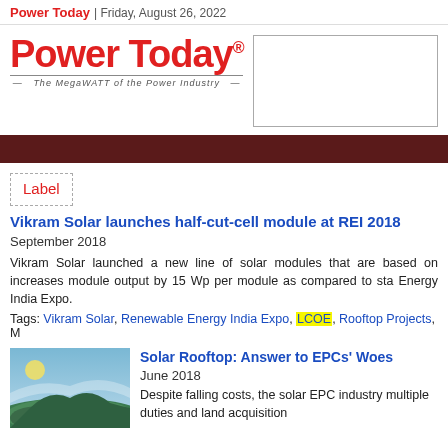Power Today | Friday, August 26, 2022
[Figure (logo): Power Today logo with tagline 'The MegaWATT of the Power Industry']
Label
Vikram Solar launches half-cut-cell module at REI 2018
September 2018
Vikram Solar launched a new line of solar modules that are based on increases module output by 15 Wp per module as compared to sta Energy India Expo.
Tags: Vikram Solar, Renewable Energy India Expo, LCOE, Rooftop Projects, M
[Figure (illustration): Aerial landscape illustration for Solar Rooftop article]
Solar Rooftop: Answer to EPCs' Woes
June 2018
Despite falling costs, the solar EPC industry multiple duties and land acquisition